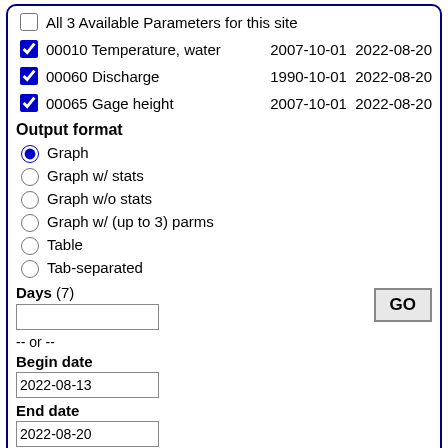All 3 Available Parameters for this site
00010 Temperature, water   2007-10-01  2022-08-20
00060 Discharge   1990-10-01  2022-08-20
00065 Gage height   2007-10-01  2022-08-20
Output format
Graph
Graph w/ stats
Graph w/o stats
Graph w/ (up to 3) parms
Table
Tab-separated
Days (7)
-- or --
Begin date: 2022-08-13
End date: 2022-08-20
Summary of all available data for this site
Instantaneous-data availability statement
Temperature, water, degrees Celsius
Most recent instantaneous value: 17.5 08-20-2022   13:45